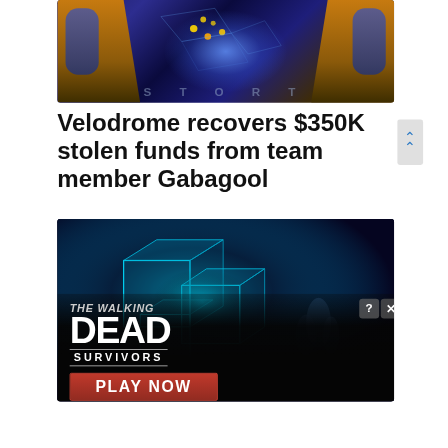[Figure (illustration): Game artwork showing characters with equipment against a colorful neon backdrop with blue energy glow in the center]
Velodrome recovers $350K stolen funds from team member Gabagool
[Figure (screenshot): Cointelegraph article image showing blockchain/3D cube visualization in cyan/blue tones, overlaid by a Walking Dead Survivors game advertisement with PLAY NOW button]